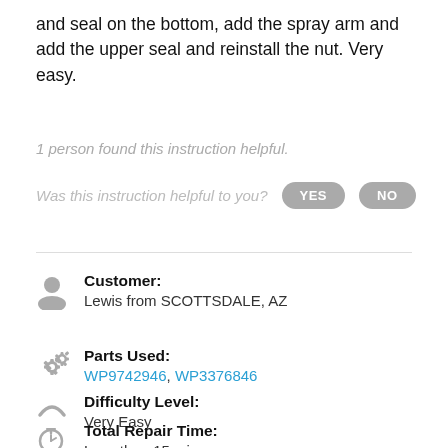and seal on the bottom, add the spray arm and add the upper seal and reinstall the nut. Very easy.
1 person found this instruction helpful.
Was this instruction helpful to you?  YES  NO
Customer:
Lewis from SCOTTSDALE, AZ
Parts Used:
WP9742946, WP3376846
Difficulty Level:
Very Easy
Total Repair Time:
Less than 15 mins